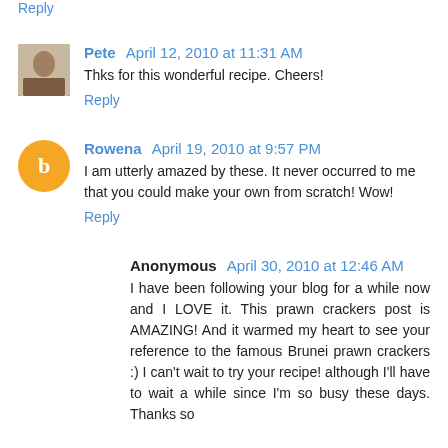Reply
Pete  April 12, 2010 at 11:31 AM
Thks for this wonderful recipe. Cheers!
Reply
Rowena  April 19, 2010 at 9:57 PM
I am utterly amazed by these. It never occurred to me that you could make your own from scratch! Wow!
Reply
Anonymous  April 30, 2010 at 12:46 AM
I have been following your blog for a while now and I LOVE it. This prawn crackers post is AMAZING! And it warmed my heart to see your reference to the famous Brunei prawn crackers :) I can't wait to try your recipe! although I'll have to wait a while since I'm so busy these days. Thanks so